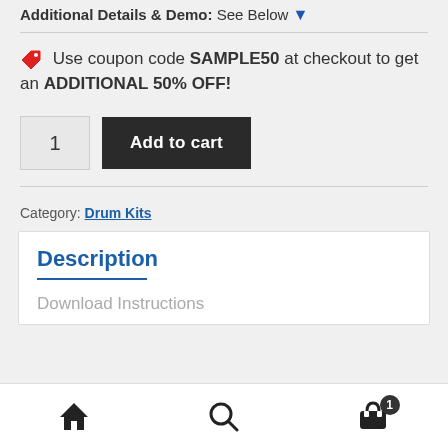Additional Details & Demo: See Below ▼
🏷 Use coupon code SAMPLE50 at checkout to get an ADDITIONAL 50% OFF!
1  Add to cart
Category: Drum Kits
Description
Download Instructions